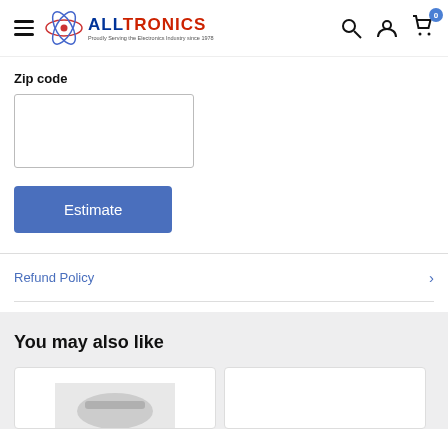ALLTRONICS — Proudly Serving the Electronics Industry since 1978
Zip code
Estimate
Refund Policy
You may also like
[Figure (other): Product card placeholder with partial image visible]